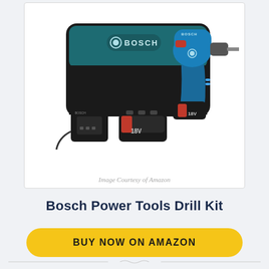[Figure (photo): Bosch Power Tools Drill Kit product photo showing a cordless drill, carrying case, charger, and two 18V batteries against a white background]
Image Courtesy of Amazon
Bosch Power Tools Drill Kit
BUY NOW ON AMAZON